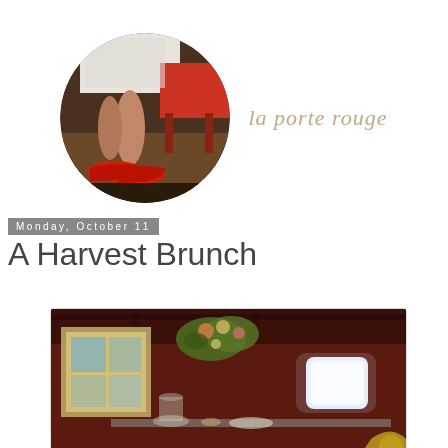[Figure (photo): Circular cropped photo of a person's feet wearing red ballet flats, with a white dress and a red chair visible, alongside cursive text 'la porte rouge']
Monday, October 11
A Harvest Brunch
[Figure (photo): Interior photo of a room with dark red walls, hanging floral arrangement, a mirror on the left wall, a glowing window on the right, and a table with glass containers and dishes]